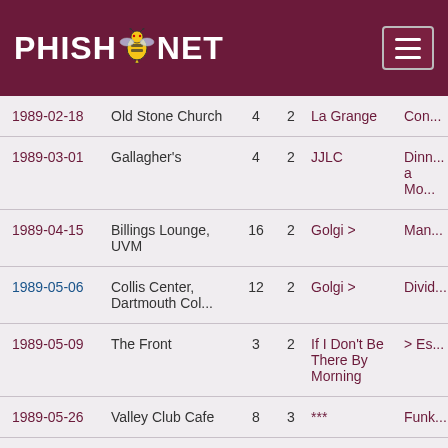PHISH.NET
| Date | Venue | Num1 | Num2 | Song1 | Song2 |
| --- | --- | --- | --- | --- | --- |
| 1989-02-18 | Old Stone Church | 4 | 2 | La Grange | Con... |
| 1989-03-01 | Gallagher's | 4 | 2 | JJLC | Dinn... a Mo... |
| 1989-04-15 | Billings Lounge, UVM | 16 | 2 | Golgi > | Man... |
| 1989-05-06 | Collis Center, Dartmouth Col... | 12 | 2 | Golgi > | Divid... |
| 1989-05-09 | The Front | 3 | 2 | If I Don't Be There By Morning | > Es... |
| 1989-05-26 | Valley Club Cafe | 8 | 3 | *** | Funk... |
| 1989-07-26 | ... | ... | ... | ... | ... |